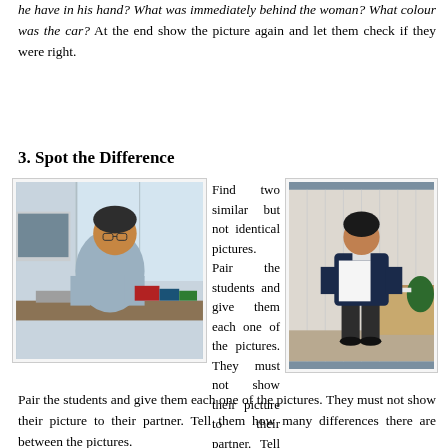he have in his hand? What was immediately behind the woman? What colour was the car? At the end show the picture again and let them check if they were right.
3. Spot the Difference
[Figure (photo): Man sitting at a desk working at a computer with keyboard and monitor visible, books on desk]
Find two similar but not identical pictures.
[Figure (photo): Man standing holding a piece of paper, reading it, with office furniture in background]
Pair the students and give them each one of the pictures. They must not show their picture to their partner. Tell them how many differences there are between the pictures.